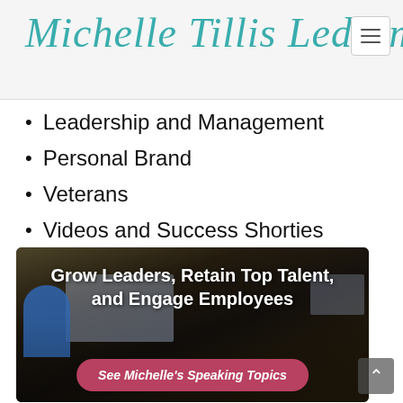Michelle Tillis Lederman
Leadership and Management
Personal Brand
Veterans
Videos and Success Shorties
[Figure (photo): Conference speaking photo with audience. Text overlay: 'Grow Leaders, Retain Top Talent, and Engage Employees'. Button: 'See Michelle's Speaking Topics']